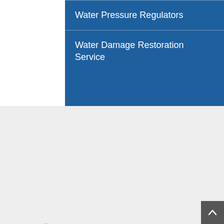Water Pressure Regulators
Water Damage Restoration Service
[Figure (logo): Plumbing & Drains Solutions logo with globe/wrench icon on left and bold text 'PLUMBING & DRAINS SOLUTIONS' on right]
SERVING SAN DIEGO COUNTY 24/7
[Figure (infographic): Phone number (619) partially visible with 'Click to Call Now' circular button and 'Service Request' circular button overlay]